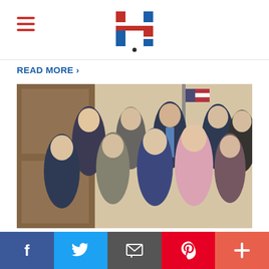Hadassah website header with hamburger menu and H logo
READ MORE ›
[Figure (photo): Group photo of approximately 9 people (mostly women, one man) posing together indoors near an American flag and wood-paneled door. One woman is wearing a pink suit in the center.]
Monday, Jan 27 2020
Hadassah Statement On US House Vote To Pass Never